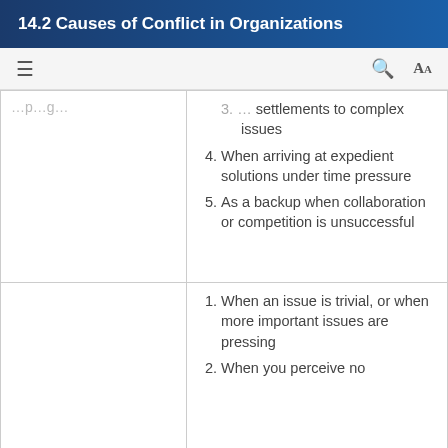14.2 Causes of Conflict in Organizations
|  |  |
| --- | --- |
| [partial left cell] | ...settlements to complex issues
4. When arriving at expedient solutions under time pressure
5. As a backup when collaboration or competition is unsuccessful |
|  | 1. When an issue is trivial, or when more important issues are pressing
2. When you perceive no... |